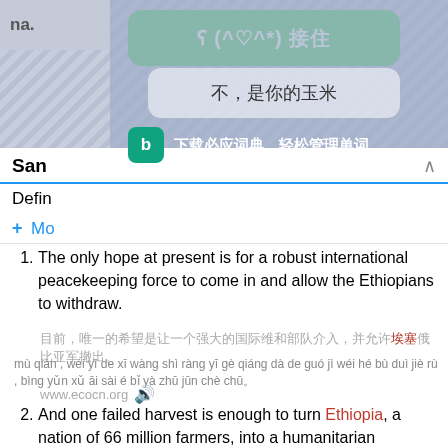[Figure (screenshot): Mobile app screenshot showing a dictionary/translation app with Chinese UI overlay. Top green button shows ʕ(^♡^*)接住, below is a gray button 不，是你的玉米, and a Bing dictionary promotion row. Below the overlay are numbered English sentences with Chinese translations and pinyin.]
1. The only hope at present is for a robust international peacekeeping force to come in and allow the Ethiopians to withdraw.
目前，唯一的希望是让一个强大的国际维和部队介入，并允许埃塞俄比亚军撤出。(with red characters for 埃塞)
mù qián , wéi yī de xī wàng shì ràng yī gè qiáng dà de guó jì wéi hé bù duì jiè rù , bìng yǔn xǔ āi sài é bǐ yà zhū jūn chè chū。
www.ecocn.org
2. And one failed harvest is enough to turn Ethiopia, a nation of 66 million farmers, into a humanitarian catastrophe.
一次农业歉收足以让一个拥有66万农民的埃塞俄比亚陷入人道主义灾难。
yī cì nóng yè qiàn shōu zú yǐ ràng yī gè yōng yǒu liù shí liù wàn nóng mín dà guó de āi sài é bǐ yà xiàn rù rén dào zhǔ yì